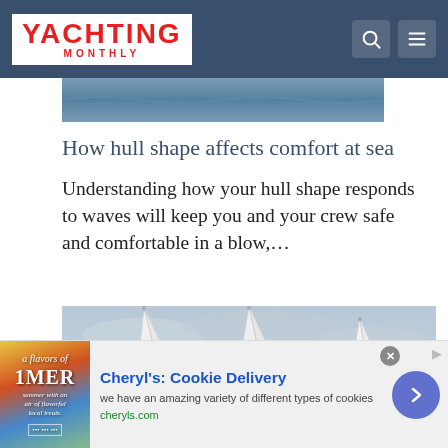YACHTING MONTHLY
[Figure (photo): Partial view of water/sea photo strip at top of article]
How hull shape affects comfort at sea
Understanding how your hull shape responds to waves will keep you and your crew safe and comfortable in a blow,…
[Figure (photo): Three sailboats with white sails showing sail numbers: GBR 3701N, 1223 (GBR/ISSI), and another partially visible. Overcast sky background.]
Cheryl's: Cookie Delivery
we have an amazing variety of different types of cookies
cheryls.com